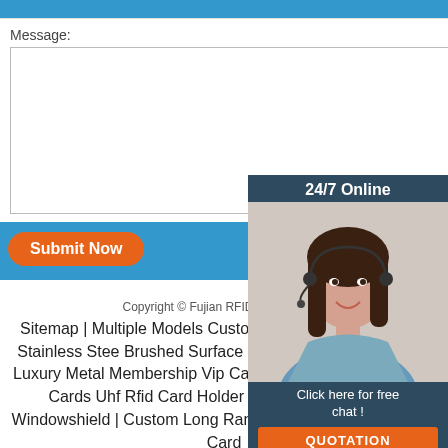[Figure (screenshot): Blue top navigation bar]
Message:
[Figure (screenshot): Message textarea input box (white, empty)]
[Figure (screenshot): Blue bar with Submit Now orange button]
[Figure (photo): 24/7 Online chat widget with woman wearing headset, dark blue background, Click here for free chat! text, and orange QUOTATION button]
Copyright © Fujian RFID Solution Co.,
Sitemap | Multiple Models Custom C... Professional Metal Stainless Stee Brushed Surface Business Card Wholesale Luxury Metal Membership Vip Card | Cheap Access Control Cards Uhf Rfid Card Holder Id Ic Card Holder Car Windowshield | Custom Long Range Smart Card Rfid Smart Card